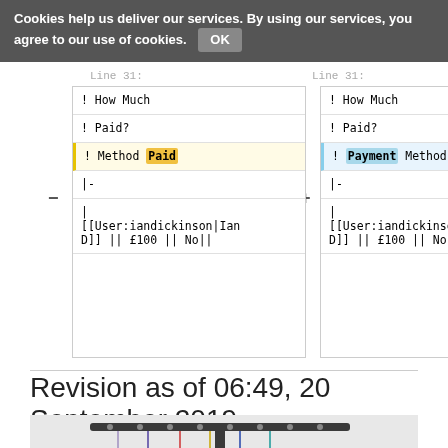Cookies help us deliver our services. By using our services, you agree to our use of cookies. OK
| ! How Much | ! How Much |
| ! Paid? | ! Paid? |
| ! Method Paid | ! Payment Method |
| |- | |- |
| |
[[User:iandickinson|Ian D]] || £100 || No|| | |
[[User:iandickinson|I D]] || £100 || No|| |
Revision as of 06:49, 20 September 2019
[Figure (photo): Embroidery thread spools on a rack next to a Brother sewing/embroidery machine]